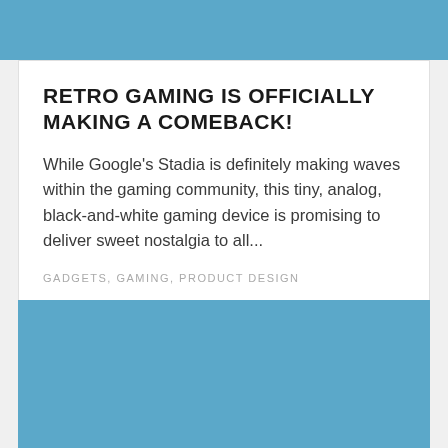RETRO GAMING IS OFFICIALLY MAKING A COMEBACK!
While Google's Stadia is definitely making waves within the gaming community, this tiny, analog, black-and-white gaming device is promising to deliver sweet nostalgia to all...
GADGETS, GAMING, PRODUCT DESIGN
[Figure (other): Solid teal/blue colored rectangle filling the bottom portion of the page]